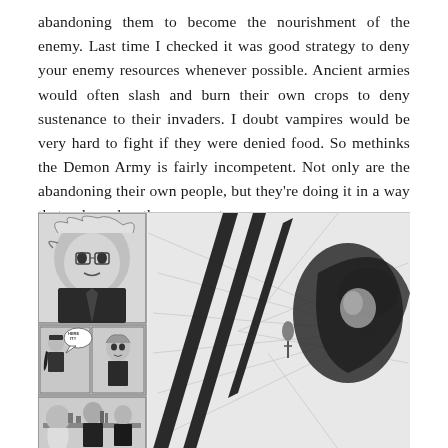abandoning them to become the nourishment of the enemy. Last time I checked it was good strategy to deny your enemy resources whenever possible. Ancient armies would often slash and burn their own crops to deny sustenance to their invaders. I doubt vampires would be very hard to fight if they were denied food. So methinks the Demon Army is fairly incompetent. Not only are the abandoning their own people, but they're doing it in a way that only makes the enemy stronger.
[Figure (illustration): Black and white manga-style illustration showing action scenes. Multiple panels include characters in combat. One panel shows small speech bubble text 'HERE IT!!'. The main panel features a dramatic scene with a dark-haired character and slashing motion lines. Bottom panel shows characters seated at what appears to be a table or meeting scene.]